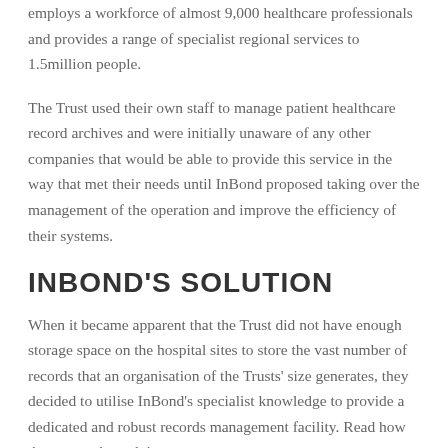employs a workforce of almost 9,000 healthcare professionals and provides a range of specialist regional services to 1.5million people.
The Trust used their own staff to manage patient healthcare record archives and were initially unaware of any other companies that would be able to provide this service in the way that met their needs until InBond proposed taking over the management of the operation and improve the efficiency of their systems.
INBOND'S SOLUTION
When it became apparent that the Trust did not have enough storage space on the hospital sites to store the vast number of records that an organisation of the Trusts' size generates, they decided to utilise InBond's specialist knowledge to provide a dedicated and robust records management facility. Read how they went about doing